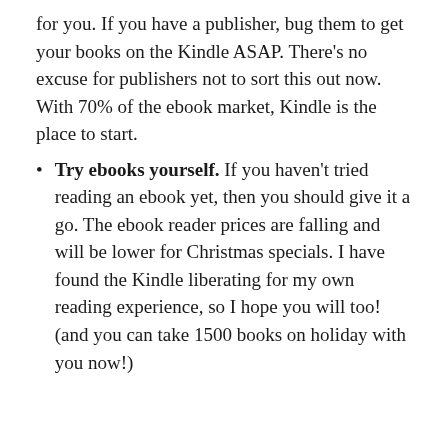for you. If you have a publisher, bug them to get your books on the Kindle ASAP. There's no excuse for publishers not to sort this out now. With 70% of the ebook market, Kindle is the place to start.
Try ebooks yourself. If you haven't tried reading an ebook yet, then you should give it a go. The ebook reader prices are falling and will be lower for Christmas specials. I have found the Kindle liberating for my own reading experience, so I hope you will too! (and you can take 1500 books on holiday with you now!)